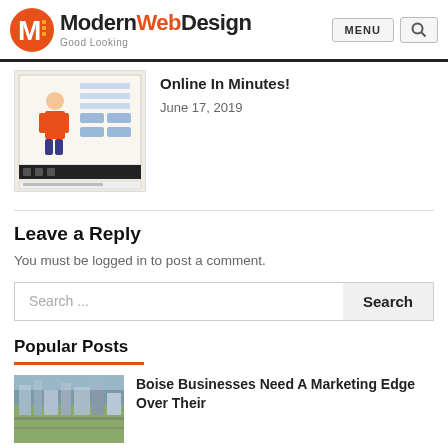ModernWebDesign — Good Looking | MENU | Search
[Figure (screenshot): Screenshot of a web-based avatar or character creator tool with a cartoon figure]
Online In Minutes!
June 17, 2019
Leave a Reply
You must be logged in to post a comment.
Search ... Search
Popular Posts
[Figure (photo): Aerial photo of Boise city]
Boise Businesses Need A Marketing Edge Over Their